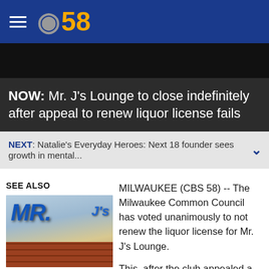CBS 58
[Figure (photo): Dark/black banner image area at top of news article]
NOW: Mr. J's Lounge to close indefinitely after appeal to renew liquor license fails
NEXT: Natalie's Everyday Heroes: Next 18 founder sees growth in mental...
SEE ALSO
[Figure (photo): Photo of Mr. J's Lounge exterior sign on brick building]
Hundreds show support in Mr. J's
MILWAUKEE (CBS 58) -- The Milwaukee Common Council has voted unanimously to not renew the liquor license for Mr. J's Lounge.
This, after the club appealed a decision...